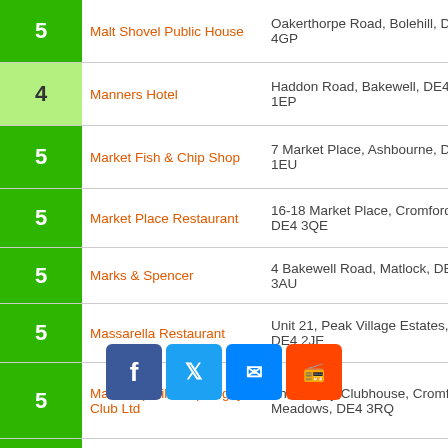| Rating | Name | Address |
| --- | --- | --- |
| 5 | Malt Shovel Public House | Oakerthorpe Road, Bolehill, DE4 4GP |
| 4 | Manners Hotel | Haddon Road, Bakewell, DE45 1EP |
| 5 | Market Fish & Chip Shop | 7 Market Place, Ashbourne, DE6 1EU |
| 5 | Market Place Restaurant | 16-18 Market Place, Cromford, DE4 3QE |
| 5 | Marks & Spencer | 4 Bakewell Road, Matlock, DE4 3AU |
| 5 | Massarella Restaurant | Unit 21, Peak Village Estates, DE4 2JE |
| 5 | Matlock (Baileans) Rugby Club Ltd | The Rugby Clubhouse, Cromford Meadows, DE4 3RQ |
| 5 | Matlock [obscured] | [obscured] Road, Matlock Bath, DE4 2NT |